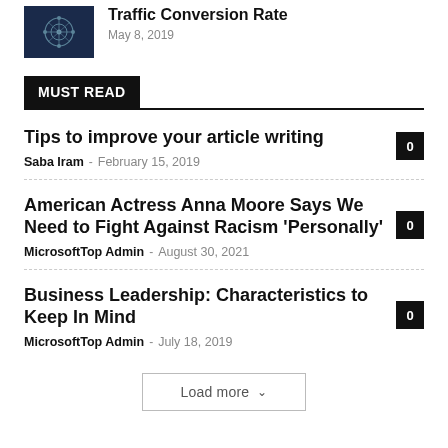[Figure (illustration): Dark blue thumbnail image with network/traffic diagram illustration]
Traffic Conversion Rate
May 8, 2019
MUST READ
Tips to improve your article writing
Saba Iram – February 15, 2019  0
American Actress Anna Moore Says We Need to Fight Against Racism 'Personally'
MicrosoftTop Admin – August 30, 2021  0
Business Leadership: Characteristics to Keep In Mind
MicrosoftTop Admin – July 18, 2019  0
Load more